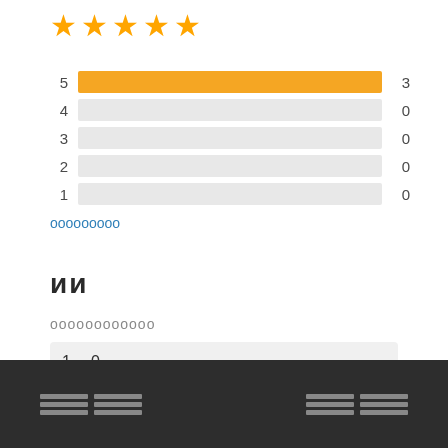[Figure (other): Five gold/orange star rating icons]
[Figure (bar-chart): Rating distribution]
ооооооооо
ии
оооооооооооо
1   0
ооооооо